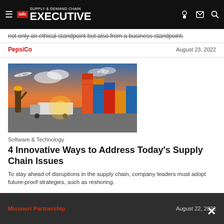Supply & Demand Chain Executive
not only an ethical standpoint but also from a business standpoint.
PepsiCo	August 23, 2022
[Figure (photo): Workers in hard hats at a shipping port with stacked colorful containers and trucks; airplane flying overhead at sunset.]
Software & Technology
4 Innovative Ways to Address Today's Supply Chain Issues
To stay ahead of disruptions in the supply chain, company leaders must adopt future-proof strategies, such as reshoring.
Missouri Partnership	August 22, 2022